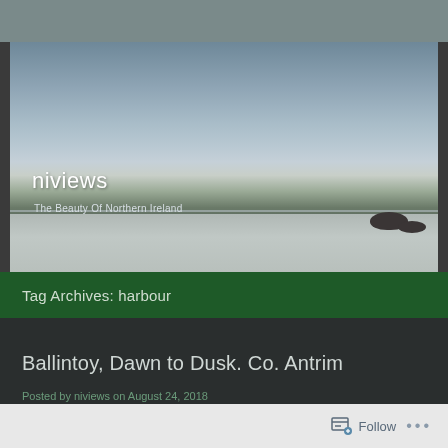[Figure (photo): Coastal seascape photograph showing a calm sea with rocks in the water, a wide beach and shoreline, and overcast sky. Text overlaid reads 'niviews' and 'The Beauty Of Northern Ireland'.]
niviews
The Beauty Of Northern Ireland
Tag Archives: harbour
Ballintoy, Dawn to Dusk. Co. Antrim
Posted by niviews on August 24, 2018
Follow ...